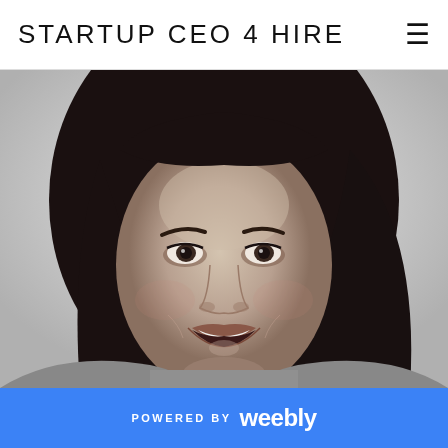STARTUP CEO 4 HIRE
[Figure (photo): Black and white headshot photo of a smiling woman with long dark hair, cropped to show face and shoulders]
POWERED BY weebly